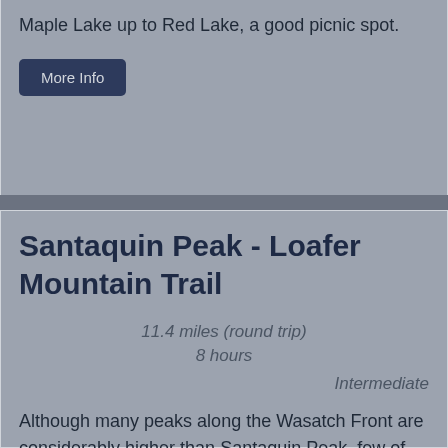Maple Lake up to Red Lake, a good picnic spot.
More Info
Santaquin Peak - Loafer Mountain Trail
11.4 miles (round trip)
8 hours
Intermediate
Although many peaks along the Wasatch Front are considerably higher than Santaquin Peak, few of the area's hikes are more scenic than this one. The trail is especially beautiful in the